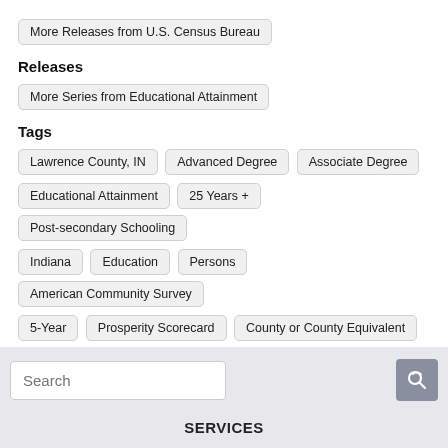More Releases from U.S. Census Bureau
Releases
More Series from Educational Attainment
Tags
Lawrence County, IN
Advanced Degree
Associate Degree
Educational Attainment
25 Years +
Post-secondary Schooling
Indiana
Education
Persons
American Community Survey
5-Year
Prosperity Scorecard
County or County Equivalent
Census
Annual
Public Domain: Citation Requested
Not Seasonally Adjusted
United States of America
Search
SERVICES